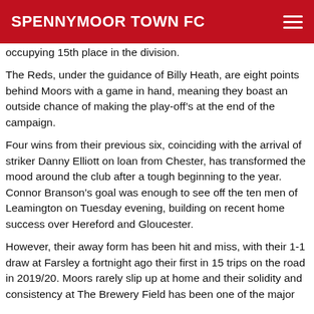SPENNYMOOR TOWN FC
occupying 15th place in the division.
The Reds, under the guidance of Billy Heath, are eight points behind Moors with a game in hand, meaning they boast an outside chance of making the play-off’s at the end of the campaign.
Four wins from their previous six, coinciding with the arrival of striker Danny Elliott on loan from Chester, has transformed the mood around the club after a tough beginning to the year. Connor Branson’s goal was enough to see off the ten men of Leamington on Tuesday evening, building on recent home success over Hereford and Gloucester.
However, their away form has been hit and miss, with their 1-1 draw at Farsley a fortnight ago their first in 15 trips on the road in 2019/20. Moors rarely slip up at home and their solidity and consistency at The Brewery Field has been one of the major